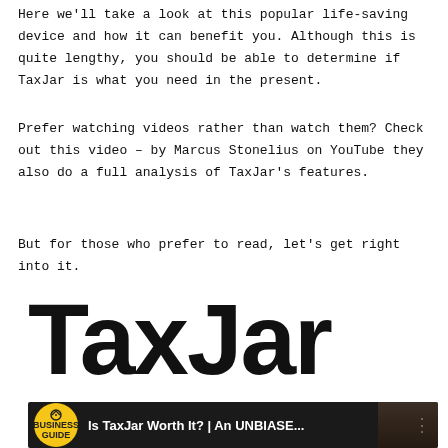Here we'll take a look at this popular life-saving device and how it can benefit you. Although this is quite lengthy, you should be able to determine if TaxJar is what you need in the present.
Prefer watching videos rather than watch them? Check out this video – by Marcus Stonelius on YouTube they also do a full analysis of TaxJar's features.
But for those who prefer to read, let's get right into it.
[Figure (logo): TaxJar logo in large bold black sans-serif text on white background]
[Figure (screenshot): YouTube video thumbnail showing 'Is TaxJar Worth It? | An UNBIASE...' with Business Guide yellow circular badge logo on dark background]